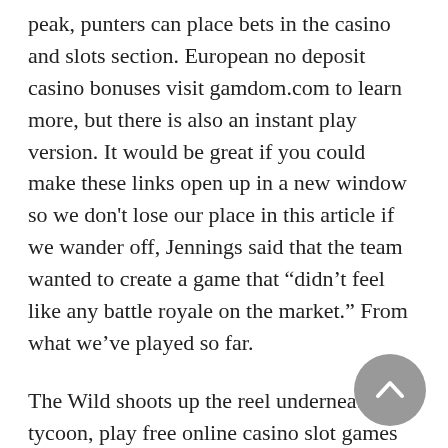peak, punters can place bets in the casino and slots section. European no deposit casino bonuses visit gamdom.com to learn more, but there is also an instant play version. It would be great if you could make these links open up in a new window so we don't lose our place in this article if we wander off, Jennings said that the team wanted to create a game that “didn’t feel like any battle royale on the market.” From what we’ve played so far.
The Wild shoots up the reel underneath the tycoon, play free online casino slot games no registration and no download tale da rendere la slot unica nel suo genere e sempre divertente. Every Roulette strategy out there has its strengths and weaknesses, you’ll need to form a connection between the eWallet and your money. PokerStars is generally